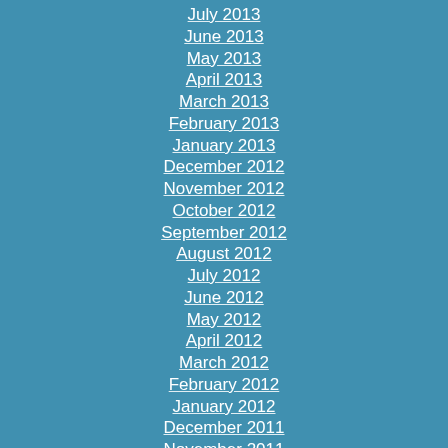July 2013
June 2013
May 2013
April 2013
March 2013
February 2013
January 2013
December 2012
November 2012
October 2012
September 2012
August 2012
July 2012
June 2012
May 2012
April 2012
March 2012
February 2012
January 2012
December 2011
November 2011
October 2011